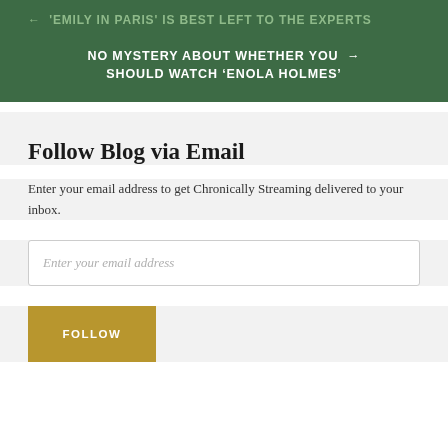← 'EMILY IN PARIS' IS BEST LEFT TO THE EXPERTS
NO MYSTERY ABOUT WHETHER YOU SHOULD WATCH 'ENOLA HOLMES' →
Follow Blog via Email
Enter your email address to get Chronically Streaming delivered to your inbox.
Enter your email address
FOLLOW